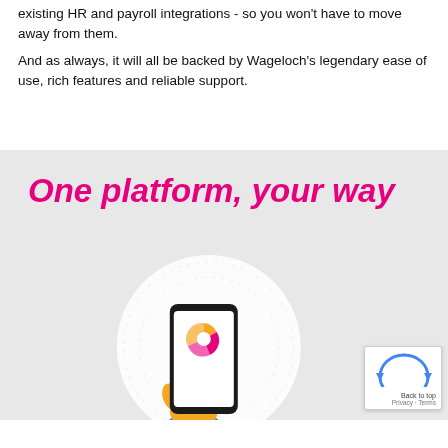existing HR and payroll integrations - so you won't have to move away from them.
And as always, it will all be backed by Wageloch's legendary ease of use, rich features and reliable support.
One platform, your way
[Figure (illustration): Hand holding a smartphone displaying the Wageloch app logo (a pink/orange donut chart icon), set inside a large white circle on a light grey background.]